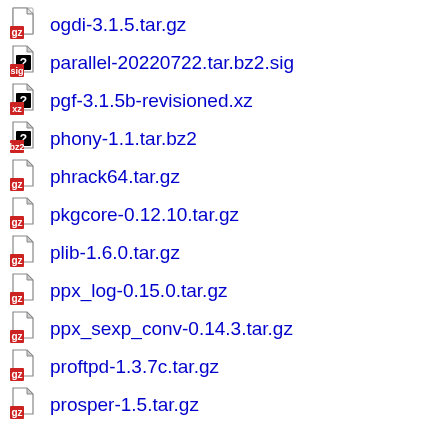ogdi-3.1.5.tar.gz
parallel-20220722.tar.bz2.sig
pgf-3.1.5b-revisioned.xz
phony-1.1.tar.bz2
phrack64.tar.gz
pkgcore-0.12.10.tar.gz
plib-1.6.0.tar.gz
ppx_log-0.15.0.tar.gz
ppx_sexp_conv-0.14.3.tar.gz
proftpd-1.3.7c.tar.gz
prosper-1.5.tar.gz